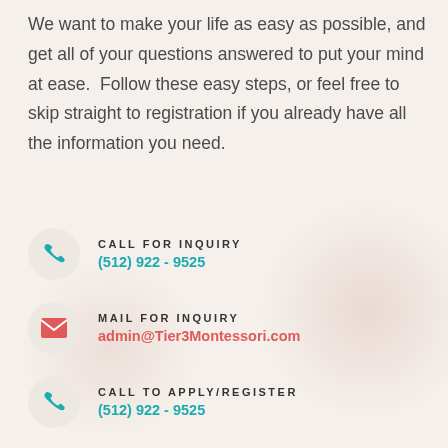We want to make your life as easy as possible, and get all of your questions answered to put your mind at ease.  Follow these easy steps, or feel free to skip straight to registration if you already have all the information you need.
CALL FOR INQUIRY
(512) 922 - 9525
MAIL FOR INQUIRY
admin@Tier3Montessori.com
CALL TO APPLY/REGISTER
(512) 922 - 9525